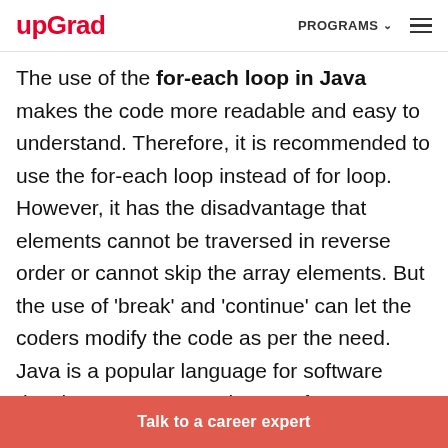upGrad | PROGRAMS
The use of the for-each loop in Java makes the code more readable and easy to understand. Therefore, it is recommended to use the for-each loop instead of for loop. However, it has the disadvantage that elements cannot be traversed in reverse order or cannot skip the array elements. But the use of 'break' and 'continue' can let the coders modify the code as per the need. Java is a popular language for software development. You can learn software
Talk to a career expert